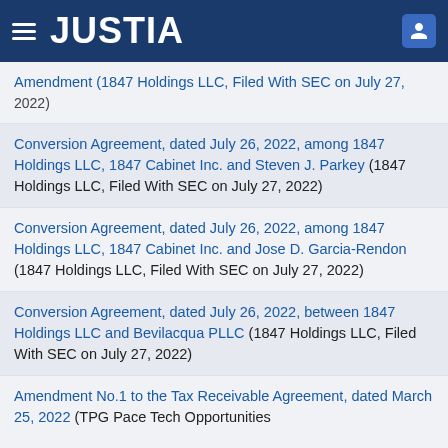JUSTIA
Amendment (1847 Holdings LLC, Filed With SEC on July 27, 2022)
Conversion Agreement, dated July 26, 2022, among 1847 Holdings LLC, 1847 Cabinet Inc. and Steven J. Parkey (1847 Holdings LLC, Filed With SEC on July 27, 2022)
Conversion Agreement, dated July 26, 2022, among 1847 Holdings LLC, 1847 Cabinet Inc. and Jose D. Garcia-Rendon (1847 Holdings LLC, Filed With SEC on July 27, 2022)
Conversion Agreement, dated July 26, 2022, between 1847 Holdings LLC and Bevilacqua PLLC (1847 Holdings LLC, Filed With SEC on July 27, 2022)
Amendment No.1 to the Tax Receivable Agreement, dated March 25, 2022 (TPG Pace Tech Opportunities)